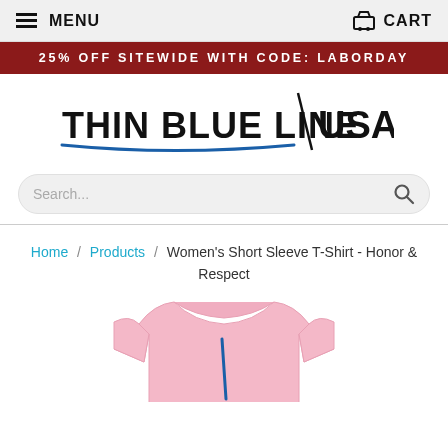MENU   CART
25% OFF SITEWIDE WITH CODE: LABORDAY
[Figure (logo): Thin Blue Line USA logo with diagonal slash, bold text and blue underline]
Search...
Home / Products / Women's Short Sleeve T-Shirt - Honor & Respect
[Figure (photo): Pink women's short sleeve t-shirt with thin blue line design, cropped showing upper portion]